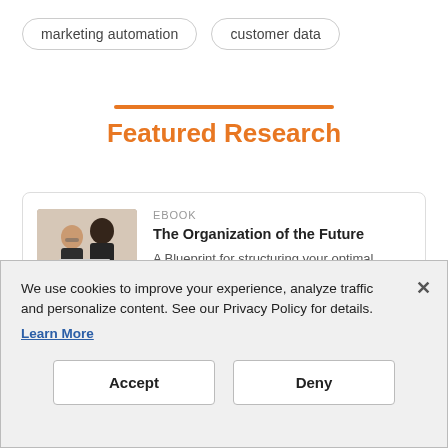marketing automation
customer data
Featured Research
[Figure (photo): Two women looking at a laptop computer together]
EBOOK
The Organization of the Future
A Blueprint for structuring your optimal customer data team
Read now
We use cookies to improve your experience, analyze traffic and personalize content. See our Privacy Policy for details.
Learn More
Accept
Deny